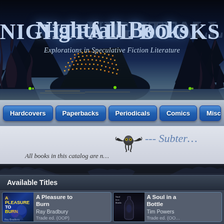[Figure (illustration): Nightfall Books website banner with dark fantasy illustration: tentacles, rocky islands with city lights, mountains, water reflections. Site name 'NIGHTFALL BOOKS TM' in large ornate silver-blue letters. Tagline: 'Explorations in Speculative Fiction Literature']
NIGHTFALL BOOKS™ — Explorations in Speculative Fiction Literature
Hardcovers
Paperbacks
Periodicals
Comics
Miscella…
[Figure (illustration): Small stylized octopus/creature logo with wings]
--- Subter…
All books in this catalog are n…
[Figure (illustration): Decorative divider bar with dragon/bat wing silhouettes on dark background]
Available Titles
[Figure (photo): Book cover: A Pleasure to Burn by Ray Bradbury]
A Pleasure to Burn
Ray Bradbury
Trade ed. (OOP)
$28.00
[Figure (photo): Book cover: A Soul in a Bottle by Tim Powers]
A Soul in a Bottle
Tim Powers
Trade ed. (OOP)
$17.00